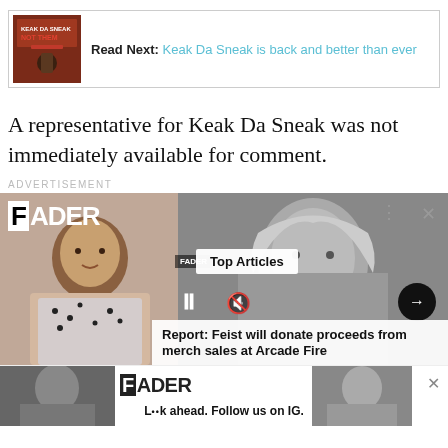[Figure (screenshot): Read Next promo bar with album cover thumbnail and link: 'Read Next: Keak Da Sneak is back and better than ever']
A representative for Keak Da Sneak was not immediately available for comment.
ADVERTISEMENT
[Figure (screenshot): FADER advertisement with Top Articles overlay showing a music video still and headline: 'Report: Feist will donate proceeds from merch sales at Arcade Fire']
[Figure (screenshot): Bottom FADER ad bar with 'L••k ahead. Follow us on IG.' caption and two artist photos]